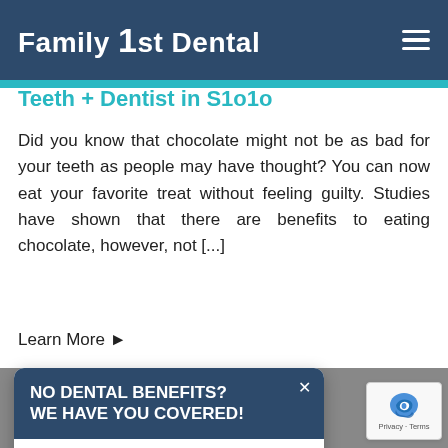Family 1st Dental
Teeth + Dentist in S1o1o
Did you know that chocolate might not be as bad for your teeth as people may have thought? You can now eat your favorite treat without feeling guilty. Studies have shown that there are benefits to eating chocolate, however, not [...]
Learn More ▶
[Figure (screenshot): Popup modal with dark navy header reading 'NO DENTAL BENEFITS? WE HAVE YOU COVERED!' and white body with 'Join Our Membership Plan!' text and green 'LEARN MORE' button]
[Figure (logo): Google reCAPTCHA badge with recaptcha logo and Privacy - Terms text]